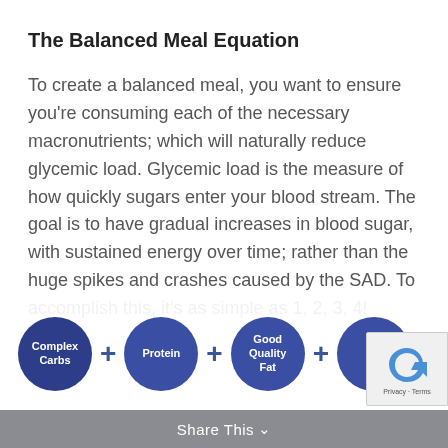The Balanced Meal Equation
To create a balanced meal, you want to ensure you’re consuming each of the necessary macronutrients; which will naturally reduce glycemic load. Glycemic load is the measure of how quickly sugars enter your blood stream. The goal is to have gradual increases in blood sugar, with sustained energy over time; rather than the huge spikes and crashes caused by the SAD. To accomplish this, it’s as simple as 1, 2, 3, 4!
[Figure (infographic): Four blue circles representing macronutrient categories (Complex Carbs, Protein, Good Quality Fat, and a partially visible fourth circle) connected by plus signs, forming the balanced meal equation.]
Share This